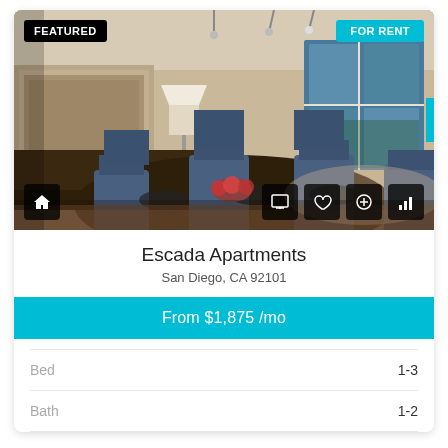[Figure (photo): Interior photo of an apartment showing a dining area with dark wood table and chairs in the foreground, a living area with sofa and coffee table, and large floor-to-ceiling windows in the background. The space has warm lighting and hardwood floors.]
FEATURED
FOR RENT
Escada Apartments
San Diego, CA 92101
From $1,875 /mo
Bed
1-3
Bath
1-2